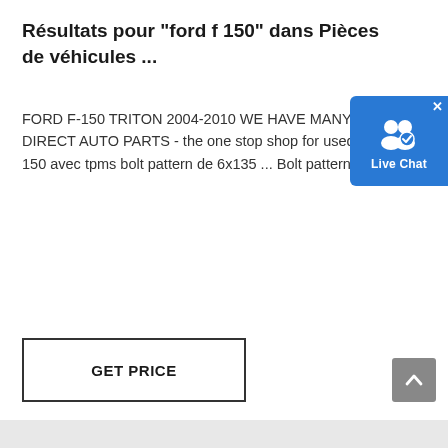Résultats pour "ford f 150" dans Pièces de véhicules ...
FORD F-150 TRITON 2004-2010 WE HAVE MANY ENGINES IN STOCK LOW MILLAGE CALL US 514-562-8344 OR 1888-494- DIRECT AUTO PARTS - the one stop shop for used Engines/Motors and used Transmission of all make. ... Rims 17'' pour Ford F-150 avec tpms bolt pattern de 6x135 ... Bolt pattern de 6x135 avec capteur tpms. Vien avec 4 enjoliveurs ...
[Figure (other): Live Chat widget with blue background, person icon with checkmark, and label 'Live Chat']
GET PRICE
CHAT WITH WHATSAPP
[Figure (other): Scroll-to-top button (grey square with up chevron)]